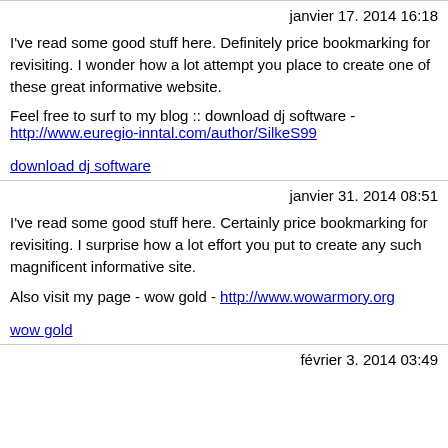janvier 17. 2014 16:18
I've read some good stuff here. Definitely price bookmarking for revisiting. I wonder how a lot attempt you place to create one of these great informative website.
Feel free to surf to my blog ::  download dj software - http://www.euregio-inntal.com/author/SilkeS99
download dj software
janvier 31. 2014 08:51
I've read some good stuff here. Certainly price bookmarking for revisiting. I surprise how a lot effort you put to create any such magnificent informative site.
Also visit my page -  wow gold - http://www.wowarmory.org
wow gold
février 3. 2014 03:49